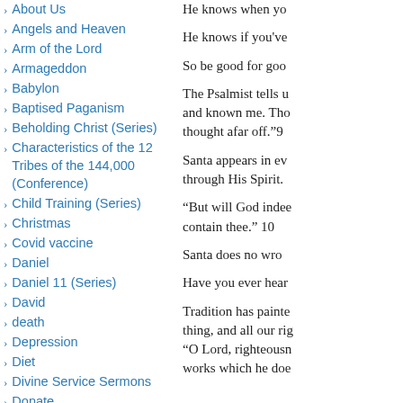About Us
Angels and Heaven
Arm of the Lord
Armageddon
Babylon
Baptised Paganism
Beholding Christ (Series)
Characteristics of the 12 Tribes of the 144,000 (Conference)
Child Training (Series)
Christmas
Covid vaccine
Daniel
Daniel 11 (Series)
David
death
Depression
Diet
Divine Service Sermons
Donate
Dress Reform
Education
He knows when yo
He knows if you've
So be good for goo
The Psalmist tells u and known me. Tho thought afar off.”9
Santa appears in ev through His Spirit.
“But will God indee contain thee.” 10
Santa does no wro
Have you ever hear
Tradition has painte thing, and all our rig “O Lord, righteousn works which he doe